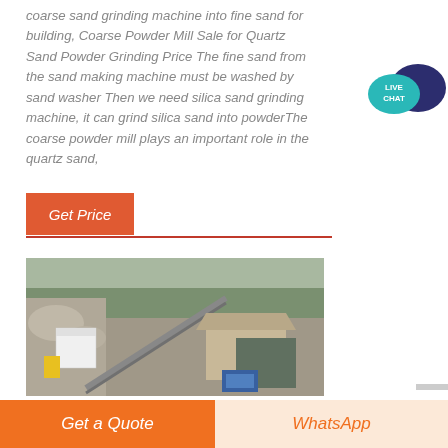coarse sand grinding machine into fine sand for building, Coarse Powder Mill Sale for Quartz Sand Powder Grinding Price The fine sand from the sand making machine must be washed by sand washer Then we need silica sand grinding machine, it can grind silica sand into powderThe coarse powder mill plays an important role in the quartz sand,
[Figure (other): Live Chat icon — teal speech bubble with dark blue speech bubble, text reads LIVE CHAT]
[Figure (other): Orange 'Get Price' button]
[Figure (photo): Outdoor industrial photo of a quarry/mining sand processing plant with conveyor belt, buildings, rocks and vegetation in background.]
[Figure (other): Bottom bar with two buttons: orange 'Get a Quote' button and cream/light 'WhatsApp' button]